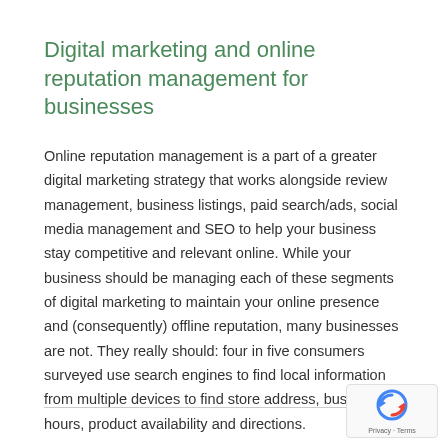Digital marketing and online reputation management for businesses
Online reputation management is a part of a greater digital marketing strategy that works alongside review management, business listings, paid search/ads, social media management and SEO to help your business stay competitive and relevant online. While your business should be managing each of these segments of digital marketing to maintain your online presence and (consequently) offline reputation, many businesses are not. They really should: four in five consumers surveyed use search engines to find local information from multiple devices to find store address, business hours, product availability and directions.